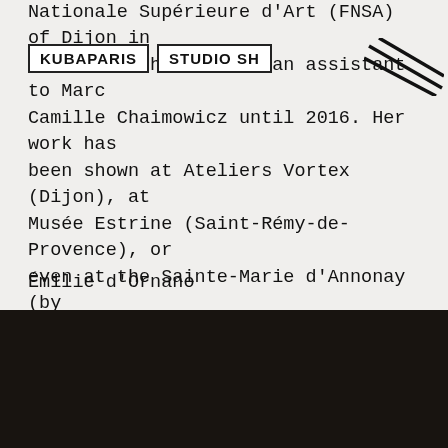KUBAPARIS   STUDIO SH
Nationale Supérieure d'Art (FNSA) of Dijon in 2010. She then became an assistant to Marc Camille Chaimowicz until 2016. Her work has been shown at Ateliers Vortex (Dijon), at Musée Estrine (Saint-Rémy-de-Provence), or even at the Sainte-Marie d'Annonay (by invitation from the GAC). Aurore-Caroline Marty has done several residencies, notably at Villa Belleville (Paris), at the Bourgogne FRAC (Dijon), at Moly-Sabata (Sablons) or more recently in Benin in partnership with the Zinsou foundation.
Émilie d'Ornano